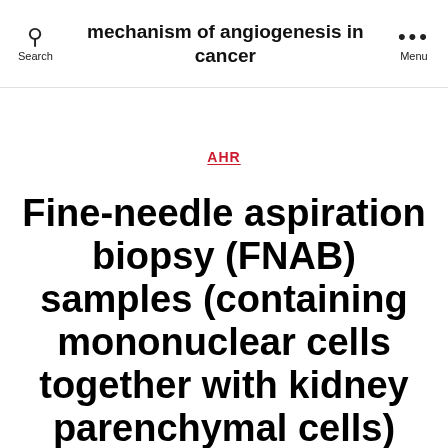mechanism of angiogenesis in cancer
AHR
Fine-needle aspiration biopsy (FNAB) samples (containing mononuclear cells together with kidney parenchymal cells) obtained from kidney